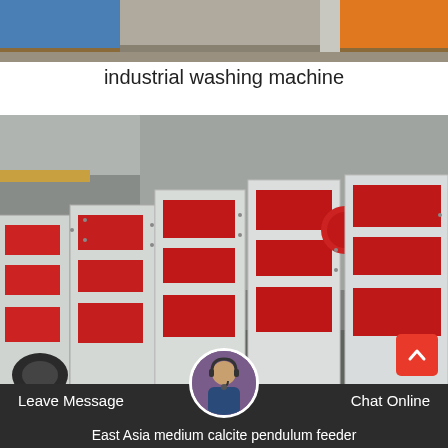[Figure (photo): Top portion of industrial machines in a warehouse/factory setting, showing colorful equipment - blue and orange colored machinery]
industrial washing machine
[Figure (photo): Large red and white industrial pendulum feeder machines stored inside a factory/warehouse. Multiple units lined up showing red metal structures and white painted panels with bolts.]
Leave Message   Chat Online   East Asia medium calcite pendulum feeder